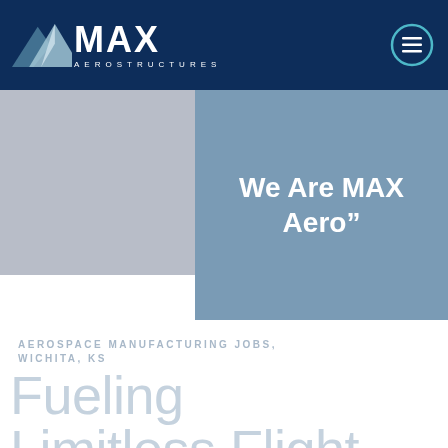MAX AEROSTRUCTURES
[Figure (screenshot): MAX Aerostructures website screenshot showing company logo on dark navy header, a grey hero image on left, a slate-blue overlay panel with quote text 'We Are MAX Aero"', category label 'AEROSPACE MANUFACTURING JOBS, WICHITA, KS', and large light-blue tagline text 'Fueling Limitless Flight']
We Are MAX Aero"
AEROSPACE MANUFACTURING JOBS, WICHITA, KS
Fueling Limitless Flight